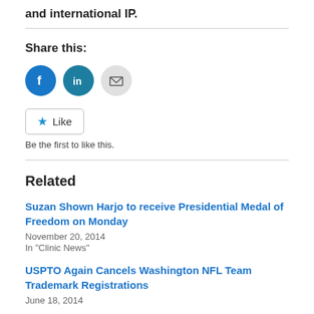and international IP.
Share this:
[Figure (other): Social share icons: Facebook (blue circle), LinkedIn (blue circle), Email (grey circle)]
Like
Be the first to like this.
Related
Suzan Shown Harjo to receive Presidential Medal of Freedom on Monday
November 20, 2014
In "Clinic News"
USPTO Again Cancels Washington NFL Team Trademark Registrations
June 18, 2014